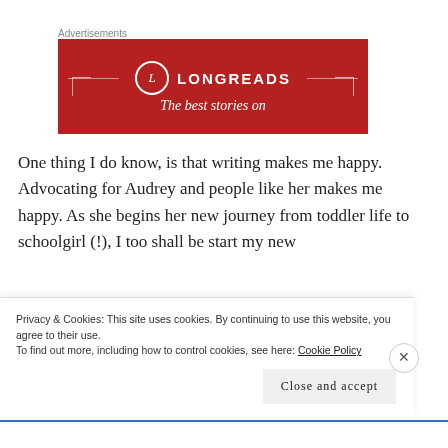[Figure (other): Longreads advertisement banner with red background, circle L logo, LONGREADS text, horizontal lines, corner brackets, and tagline 'The best stories on']
One thing I do know, is that writing makes me happy. Advocating for Audrey and people like her makes me happy. As she begins her new journey from toddler life to schoolgirl (!), I too shall be start my new
Privacy & Cookies: This site uses cookies. By continuing to use this website, you agree to their use.
To find out more, including how to control cookies, see here: Cookie Policy
Close and accept